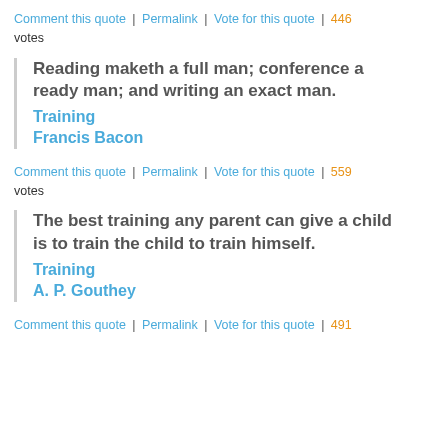Comment this quote | Permalink | Vote for this quote | 446 votes
Reading maketh a full man; conference a ready man; and writing an exact man. Training Francis Bacon
Comment this quote | Permalink | Vote for this quote | 559 votes
The best training any parent can give a child is to train the child to train himself. Training A. P. Gouthey
Comment this quote | Permalink | Vote for this quote | 491